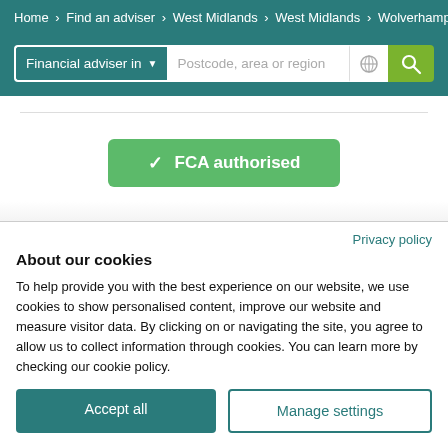Home > Find an adviser > West Midlands > West Midlands > Wolverhampt
Financial adviser in ▾  |  Postcode, area or region
[Figure (screenshot): FCA authorised green button with checkmark]
Privacy policy
About our cookies
To help provide you with the best experience on our website, we use cookies to show personalised content, improve our website and measure visitor data. By clicking on or navigating the site, you agree to allow us to collect information through cookies. You can learn more by checking our cookie policy.
Accept all  |  Manage settings